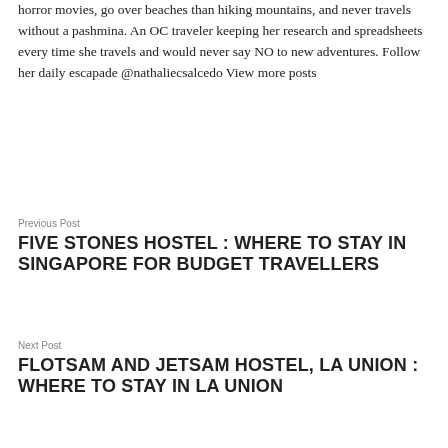horror movies, go over beaches than hiking mountains, and never travels without a pashmina. An OC traveler keeping her research and spreadsheets every time she travels and would never say NO to new adventures. Follow her daily escapade @nathaliecsalcedo View more posts
Previous Post
FIVE STONES HOSTEL : WHERE TO STAY IN SINGAPORE FOR BUDGET TRAVELLERS
Next Post
FLOTSAM AND JETSAM HOSTEL, LA UNION : WHERE TO STAY IN LA UNION